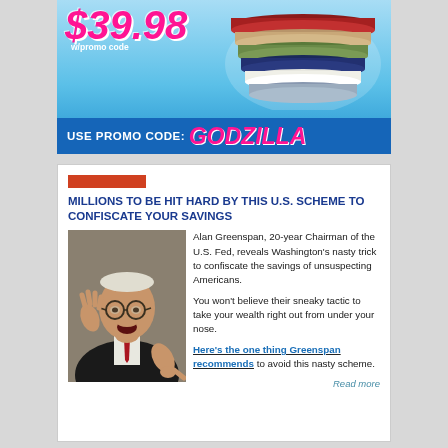[Figure (other): Advertisement banner with price $39.98 w/promo code, stacked bed sheets in multiple colors on blue background, and promo bar reading USE PROMO CODE: GODZILLA]
[Figure (other): Red horizontal bar accent above article headline]
MILLIONS TO BE HIT HARD BY THIS U.S. SCHEME TO CONFISCATE YOUR SAVINGS
[Figure (photo): Photo of Alan Greenspan, elderly man pointing finger, mouth open, wearing glasses and suit with red tie]
Alan Greenspan, 20-year Chairman of the U.S. Fed, reveals Washington's nasty trick to confiscate the savings of unsuspecting Americans.

You won't believe their sneaky tactic to take your wealth right out from under your nose.

Here's the one thing Greenspan recommends to avoid this nasty scheme.

Read more